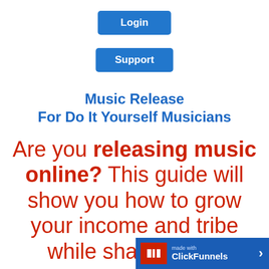[Figure (other): Blue 'Login' button]
[Figure (other): Blue 'Support' button]
Music Release For Do It Yourself Musicians
Are you releasing music online? This guide will show you how to grow your income and tribe while sharing your
[Figure (logo): ClickFunnels branding bar in bottom-right corner]